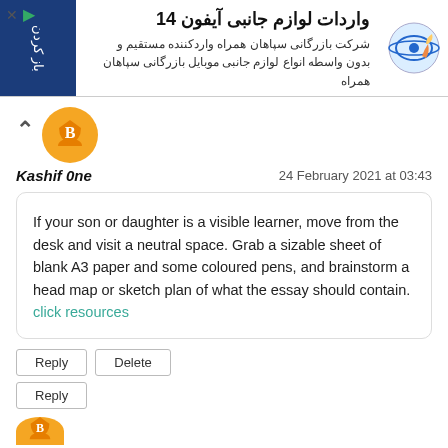[Figure (infographic): Advertisement banner in Persian for iPhone 14 accessories import company Sepahan Hamrah, with logo and open button]
Kashif 0ne
24 February 2021 at 03:43
If your son or daughter is a visible learner, move from the desk and visit a neutral space. Grab a sizable sheet of blank A3 paper and some coloured pens, and brainstorm a head map or sketch plan of what the essay should contain. click resources